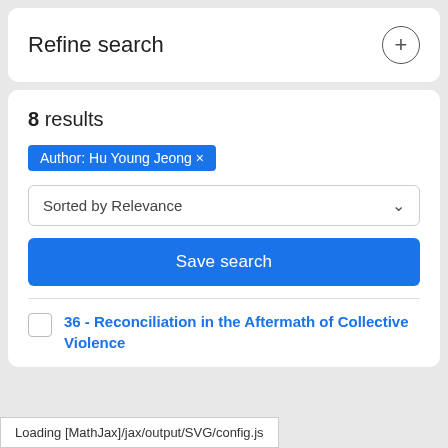Refine search
8 results
Author: Hu Young Jeong ×
Sorted by Relevance
Save search
36 - Reconciliation in the Aftermath of Collective Violence
Loading [MathJax]/jax/output/SVG/config.js